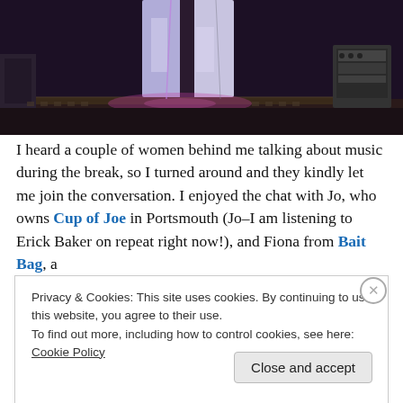[Figure (photo): Concert stage photo showing lower body of a performer in white/light-colored pants on a dark stage with equipment in background]
I heard a couple of women behind me talking about music during the break, so I turned around and they kindly let me join the conversation. I enjoyed the chat with Jo, who owns Cup of Joe in Portsmouth (Jo–I am listening to Erick Baker on repeat right now!), and Fiona from Bait Bag, a
Privacy & Cookies: This site uses cookies. By continuing to use this website, you agree to their use.
To find out more, including how to control cookies, see here: Cookie Policy
Close and accept